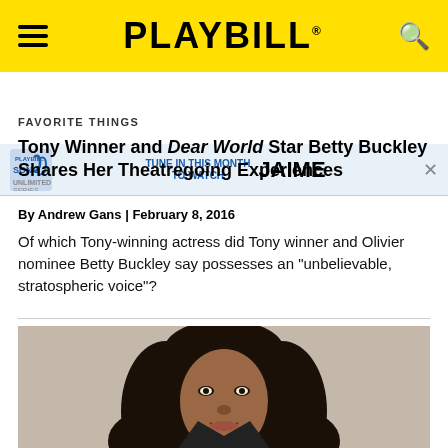PLAYBILL
[Figure (screenshot): Advertisement banner: Playbill Song & Unlimited Series - Tune in this month to watch JAIME]
FAVORITE THINGS
Tony Winner and Dear World Star Betty Buckley Shares Her Theatregoing Experiences
By Andrew Gans | February 8, 2016
Of which Tony-winning actress did Tony winner and Olivier nominee Betty Buckley say possesses an "unbelievable, stratospheric voice"?
[Figure (photo): Portrait photo of a woman with long dark wavy hair, smiling, against a light beige background]